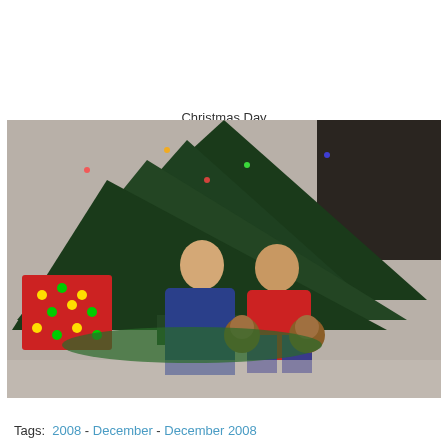Christmas Day
[Figure (photo): Two young boys in pajamas sitting in front of a Christmas tree, each holding stuffed monkey toys. A red polka-dot wrapped gift is visible on the left.]
Tags:  2008 - December - December 2008